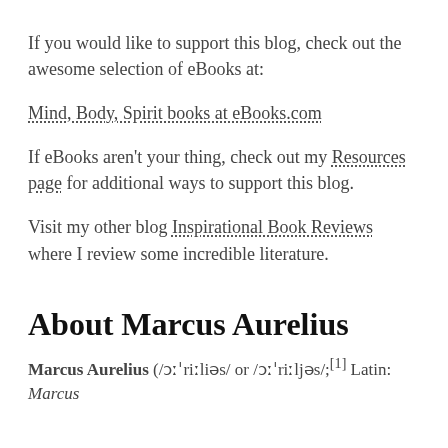If you would like to support this blog, check out the awesome selection of eBooks at:
Mind, Body, Spirit books at eBooks.com
If eBooks aren't your thing, check out my Resources page for additional ways to support this blog.
Visit my other blog Inspirational Book Reviews where I review some incredible literature.
About Marcus Aurelius
Marcus Aurelius (/ɔːˈriːliəs/ or /ɔːˈriːljəs/;[1] Latin: Marcus